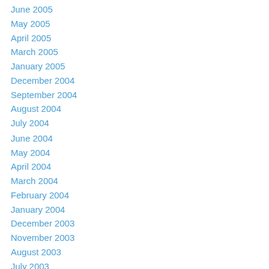June 2005
May 2005
April 2005
March 2005
January 2005
December 2004
September 2004
August 2004
July 2004
June 2004
May 2004
April 2004
March 2004
February 2004
January 2004
December 2003
November 2003
August 2003
July 2003
June 2003